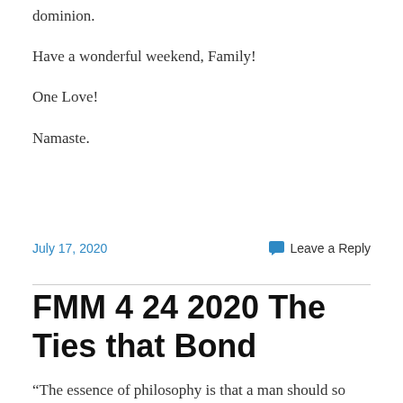dominion.
Have a wonderful weekend, Family!
One Love!
Namaste.
July 17, 2020    💬 Leave a Reply
FMM 4 24 2020 The Ties that Bond
“The essence of philosophy is that a man should so live